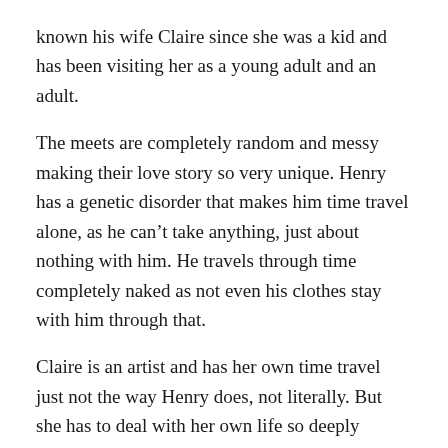known his wife Claire since she was a kid and has been visiting her as a young adult and an adult.
The meets are completely random and messy making their love story so very unique. Henry has a genetic disorder that makes him time travel alone, as he can't take anything, just about nothing with him. He travels through time completely naked as not even his clothes stay with him through that.
Claire is an artist and has her own time travel just not the way Henry does, not literally. But she has to deal with her own life so deeply tangled with Henry and his going back and forth in time. The show is about love, marriage and relationships along with identity, self-determination and free will.